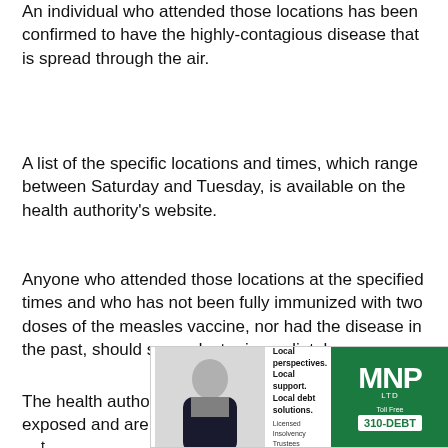An individual who attended those locations has been confirmed to have the highly-contagious disease that is spread through the air.
A list of the specific locations and times, which range between Saturday and Tuesday, is available on the health authority's website.
Anyone who attended those locations at the specified times and who has not been fully immunized with two doses of the measles vaccine, nor had the disease in the past, should see a doctor immediately.
The health authority says if you think you have been exposed and are not immune to measles, you should get
[Figure (photo): Advertisement banner for MNP LTD featuring a woman in business attire on the left, text reading 'Local perspectives. Local support. Local debt solutions. Licensed Insolvency Trustees' in the middle, and the MNP logo with 'Toll Free 310-DEBT' on a green background on the right.]